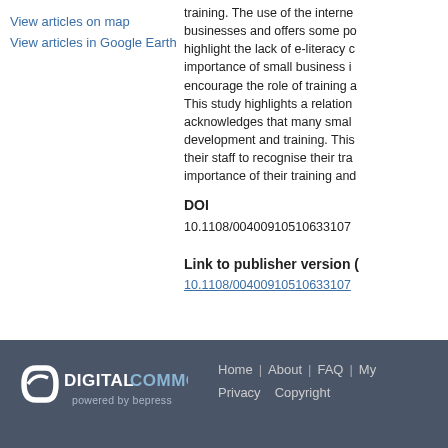View articles on map
View articles in Google Earth
training. The use of the internet businesses and offers some po highlight the lack of e-literacy c importance of small business i encourage the role of training a This study highlights a relation acknowledges that many smal development and training. This their staff to recognise their tra importance of their training and
DOI
10.1108/00400910510633107
Link to publisher version (
10.1108/00400910510633107
Home | About | FAQ | My  Privacy  Copyright  Digital Commons powered by bepress